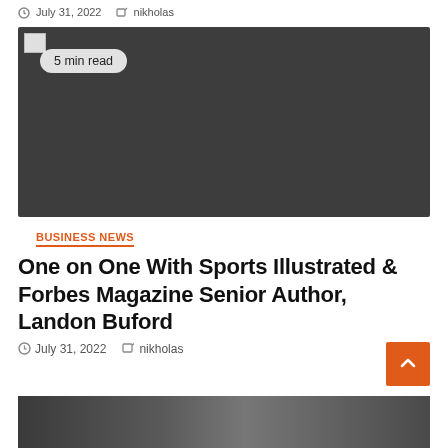July 31, 2022  nikholas
[Figure (photo): Dark grey placeholder image with a broken image icon in the top-left corner and a '5 min read' badge overlaid on it]
5 min read
BUSINESS NEWS
One on One With Sports Illustrated & Forbes Magazine Senior Author, Landon Buford
July 31, 2022  nikholas
[Figure (photo): Partial bottom image strip showing a dark scene, cropped at the bottom of the page]